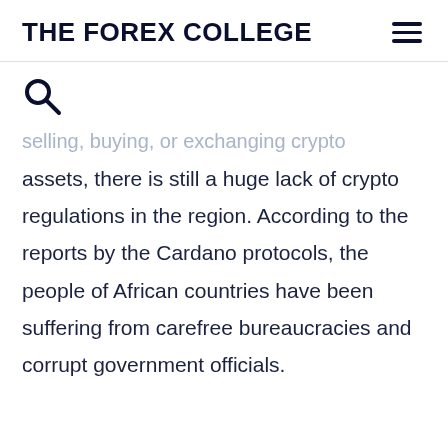THE FOREX COLLEGE
selling, buying, or exchanging crypto assets, there is still a huge lack of crypto regulations in the region. According to the reports by the Cardano protocols, the people of African countries have been suffering from carefree bureaucracies and corrupt government officials.